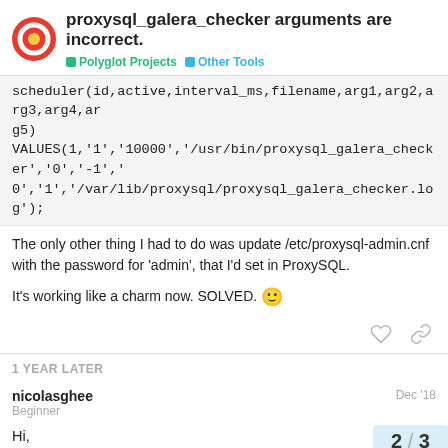proxysql_galera_checker arguments are incorrect. | Polyglot Projects | Other Tools
scheduler(id,active,interval_ms,filename,arg1,arg2,arg3,arg4,arg5)
VALUES(1,'1','10000','/usr/bin/proxysql_galera_checker','0','-1','0','1','/var/lib/proxysql/proxysql_galera_checker.log');
The only other thing I had to do was update /etc/proxysql-admin.cnf with the password for 'admin', that I'd set in ProxySQL.
It's working like a charm now. SOLVED. 🙂
1 YEAR LATER
nicolasghee
Beginner
Dec '18
Hi,